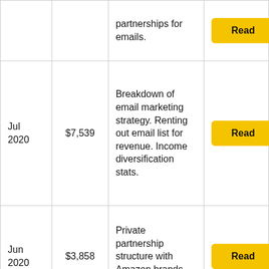| Date | Amount | Description | Link |
| --- | --- | --- | --- |
|  |  | partnerships for emails. | Read |
| Jul 2020 | $7,539 | Breakdown of email marketing strategy. Renting out email list for revenue. Income diversification stats. | Read |
| Jun 2020 | $3,858 | Private partnership structure with Amazon brands. Content audit | Read |